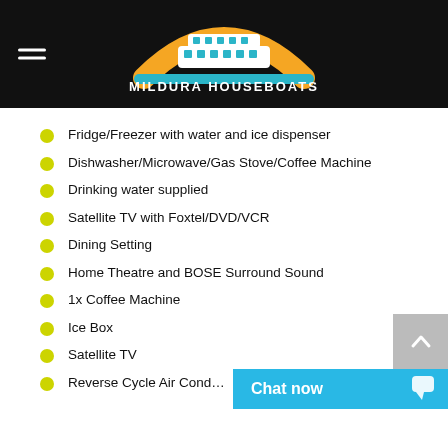MILDURA HOUSEBOATS
Fridge/Freezer with water and ice dispenser
Dishwasher/Microwave/Gas Stove/Coffee Machine
Drinking water supplied
Satellite TV with Foxtel/DVD/VCR
Dining Setting
Home Theatre and BOSE Surround Sound
1x Coffee Machine
Ice Box
Satellite TV
Reverse Cycle Air Cond…